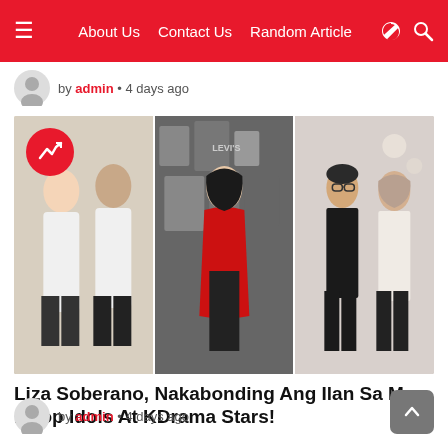About Us  Contact Us  Random Article
by admin • 4 days ago
[Figure (photo): Photo collage of three panels: left panel shows two young women in white tops, center panel shows a woman in red jacket and black outfit standing in front of Levi's display, right panel shows a man with glasses and a woman in white shirt]
Liza Soberano, Nakabonding Ang Ilan Sa Mga KPop Idols At KDrama Stars!
by admin • 4 days ago